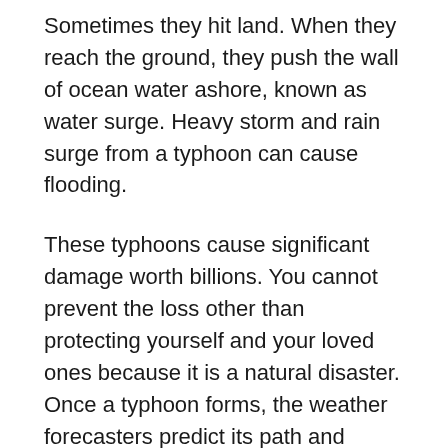Sometimes they hit land. When they reach the ground, they push the wall of ocean water ashore, known as water surge. Heavy storm and rain surge from a typhoon can cause flooding.
These typhoons cause significant damage worth billions. You cannot prevent the loss other than protecting yourself and your loved ones because it is a natural disaster. Once a typhoon forms, the weather forecasters predict its path and predict how strong it will get. This information helps them to prepare for the incoming storm.
A warning center known as the Regional Specialized Meteorological Center for tropical forecasts located in Japan informs people